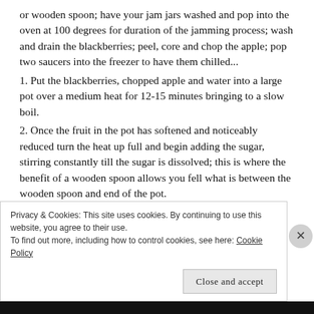or wooden spoon; have your jam jars washed and pop into the oven at 100 degrees for duration of the jamming process; wash and drain the blackberries; peel, core and chop the apple; pop two saucers into the freezer to have them chilled...
1. Put the blackberries, chopped apple and water into a large pot over a medium heat for 12-15 minutes bringing to a slow boil.
2. Once the fruit in the pot has softened and noticeably reduced turn the heat up full and begin adding the sugar, stirring constantly till the sugar is dissolved; this is where the benefit of a wooden spoon allows you fell what is between the wooden spoon and end of the pot.
Privacy & Cookies: This site uses cookies. By continuing to use this website, you agree to their use. To find out more, including how to control cookies, see here: Cookie Policy
Close and accept